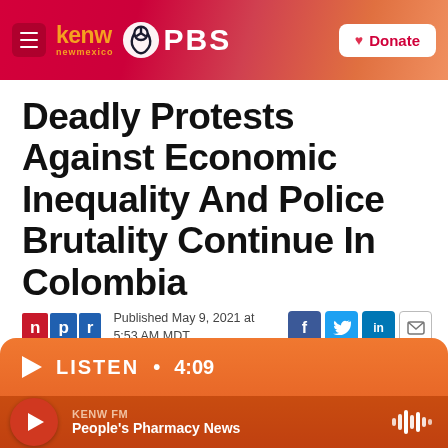KENW New Mexico PBS | Donate
Deadly Protests Against Economic Inequality And Police Brutality Continue In Colombia
Published May 9, 2021 at 5:53 AM MDT
LISTEN • 4:09
KENW FM — People's Pharmacy News